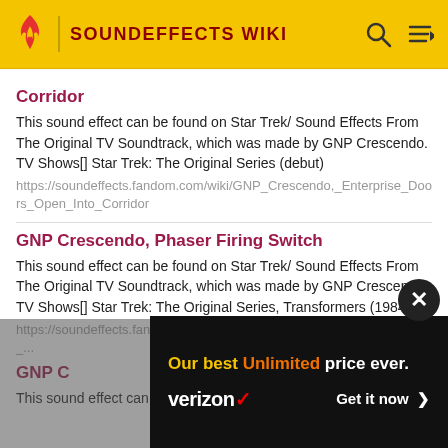SOUNDEFFECTS WIKI
Corridor
This sound effect can be found on Star Trek/ Sound Effects From The Original TV Soundtrack, which was made by GNP Crescendo. TV Shows[] Star Trek: The Original Series (debut)
https://soundeffects.fandom.com/wiki/GNP_Crescendo,_Enterprise_Doors_Open_Into_Corridor
GNP Crescendo, Phaser Firing Switch
This sound effect can be found on Star Trek/ Sound Effects From The Original TV Soundtrack, which was made by GNP Crescendo. TV Shows[] Star Trek: The Original Series, Transformers (1984)
https://soundeffects.fandom.com/wiki/GNP_Crescendo,_Phaser_Firing_Switch
GNP C...
This sound effect can be found on Star Trek/ Sound Effects From
[Figure (other): Verizon advertisement overlay: 'Our best Unlimited price ever.' with verizon logo and 'Get it now >' button on dark background]